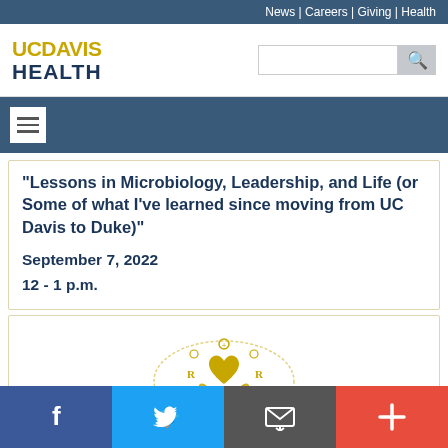News | Careers | Giving | Health
[Figure (logo): UC Davis Health logo with gold 'UCDAVIS' and navy 'HEALTH' text]
"Lessons in Microbiology, Leadership, and Life (or Some of what I've learned since moving from UC Davis to Duke)"
September 7, 2022
12 - 1 p.m.
[Figure (illustration): Gold circular illustration with medical/health icons including heart, Rx symbols, hands, and various health-related icons]
Facebook | Twitter | Email | More